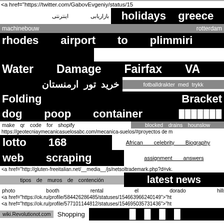<a href="https://twitter.com/GabovEvgeniy/status/15
بازاریابی اینترنتی
holidays greece
machinebouw rotterdam
rhodes airport to plimmiri
████████████
Water Damage Fairfax VA
خرید تور ارمنستان
fotballdrakter med trykk
Folding Bracket
dog poop container ███████
make qr code for shopify blocked drains hounslow
https://geotecniaymecanicasuelosabc.com/mecanica-suelos/#proyectos de m
lotto 168 African celebrity Biography
web scraping assignment answers
<a href="http://gluten-freeitalian.net/__media__/js/netsoltrademark.php?d=vk.
tipos de muros de contención latest news
photo booth rental el dorado hills
<a href="https://ok.ru/profile/584426286485/statuses/154663966240149">"ht
<a href="https://ok.ru/profile/577101144812/statuses/154695035731436">"ht
wiki.Revolutionot.com Shopping
█ █ █ █